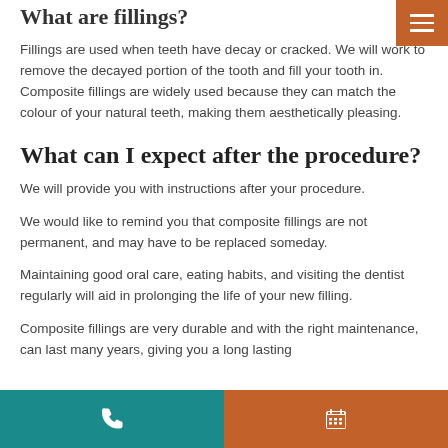What are fillings?
Fillings are used when teeth have decay or cracked. We will work to remove the decayed portion of the tooth and fill your tooth in. Composite fillings are widely used because they can match the colour of your natural teeth, making them aesthetically pleasing.
What can I expect after the procedure?
We will provide you with instructions after your procedure.
We would like to remind you that composite fillings are not permanent, and may have to be replaced someday.
Maintaining good oral care, eating habits, and visiting the dentist regularly will aid in prolonging the life of your new filling.
Composite fillings are very durable and with the right maintenance, can last many years, giving you a long lasting
Phone | Calendar